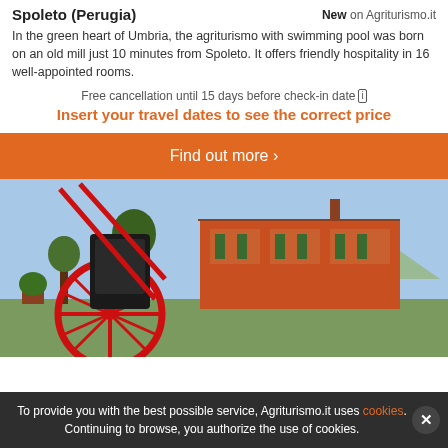Spoleto (Perugia)
New on Agriturismo.it
In the green heart of Umbria, the agriturismo with swimming pool was born on an old mill just 10 minutes from Spoleto. It offers friendly hospitality in 16 well-appointed rooms.
Free cancellation until 15 days before check-in date [i] Insert your travel dates to see the correct price
Find out more >
[Figure (photo): Exterior of an orange/red farmhouse building with a red horse carriage wheel in the foreground, trees and mountains in background.]
To provide you with the best possible service, Agriturismo.it uses cookies. Continuing to browse, you authorize the use of cookies.